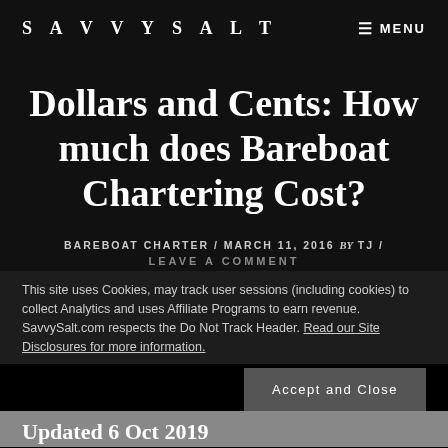SAVVYSALT    ≡ MENU
Dollars and Cents: How much does Bareboat Chartering Cost?
BAREBOAT CHARTER / MARCH 11, 2016 by TJ / LEAVE A COMMENT
This site uses Cookies, may track user sessions (including cookies) to collect Analytics and uses Affiliate Programs to earn revenue. SavvySalt.com respects the Do Not Track Header. Read our Site Disclosures for more information.
Accept and Close
Updated 6 Oct 2019